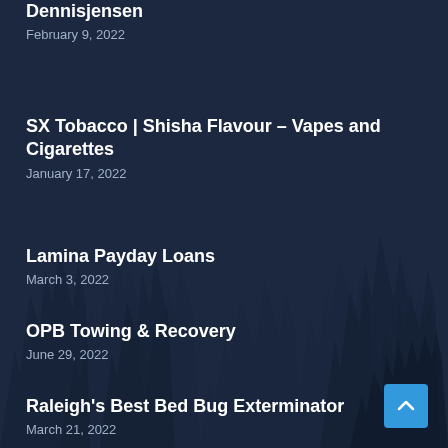Dennisjensen
February 9, 2022
SX Tobacco | Shisha Flavour – Vapes and Cigarettes
January 17, 2022
Lamina Payday Loans
March 3, 2022
OPB Towing & Recovery
June 29, 2022
Raleigh's Best Bed Bug Exterminator
March 21, 2022